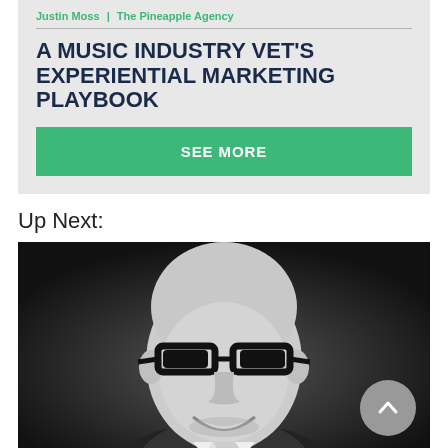Justin Moss | The Pineapple Agency
A MUSIC INDUSTRY VET'S EXPERIENTIAL MARKETING PLAYBOOK
SEE MORE
Up Next:
[Figure (photo): Black and white headshot of a bald man wearing dark thick-framed glasses and a suit jacket, smiling]